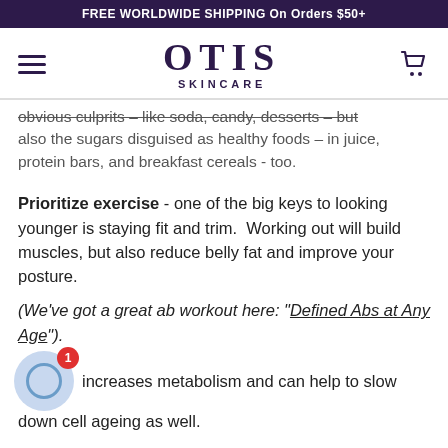FREE WORLDWIDE SHIPPING On Orders $50+
[Figure (logo): Otis Skincare logo with hamburger menu and cart icon]
obvious culprits – like soda, candy, desserts – but also the sugars disguised as healthy foods – in juice, protein bars, and breakfast cereals - too.
Prioritize exercise - one of the big keys to looking younger is staying fit and trim. Working out will build muscles, but also reduce belly fat and improve your posture.
(We've got a great ab workout here: "Defined Abs at Any Age").
It also increases metabolism and can help to slow down cell ageing as well.